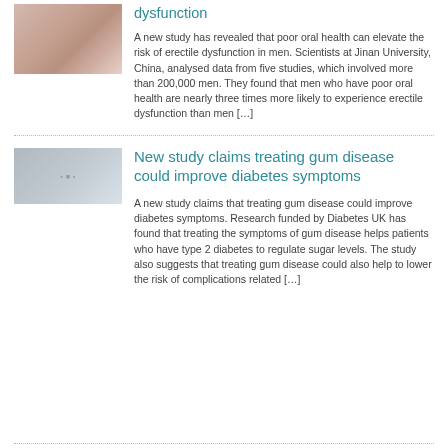[Figure (photo): Small thumbnail photo showing what appears to be a person, floral pattern visible]
dysfunction
A new study has revealed that poor oral health can elevate the risk of erectile dysfunction in men. Scientists at Jinan University, China, analysed data from five studies, which involved more than 200,000 men. They found that men who have poor oral health are nearly three times more likely to experience erectile dysfunction than men […]
[Figure (photo): Small blurry thumbnail image with muted tones]
New study claims treating gum disease could improve diabetes symptoms
A new study claims that treating gum disease could improve diabetes symptoms. Research funded by Diabetes UK has found that treating the symptoms of gum disease helps patients who have type 2 diabetes to regulate sugar levels. The study also suggests that treating gum disease could also help to lower the risk of complications related […]